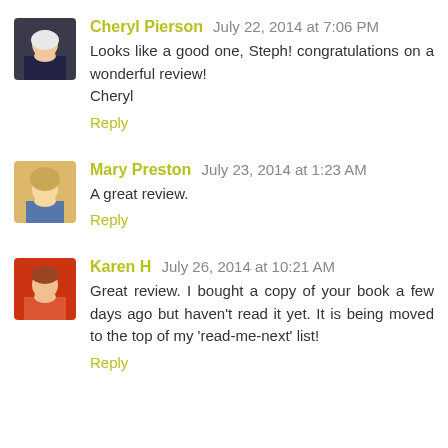Cheryl Pierson July 22, 2014 at 7:06 PM
Looks like a good one, Steph! congratulations on a wonderful review!
Cheryl
Reply
Mary Preston July 23, 2014 at 1:23 AM
A great review.
Reply
Karen H July 26, 2014 at 10:21 AM
Great review. I bought a copy of your book a few days ago but haven't read it yet. It is being moved to the top of my 'read-me-next' list!
Reply